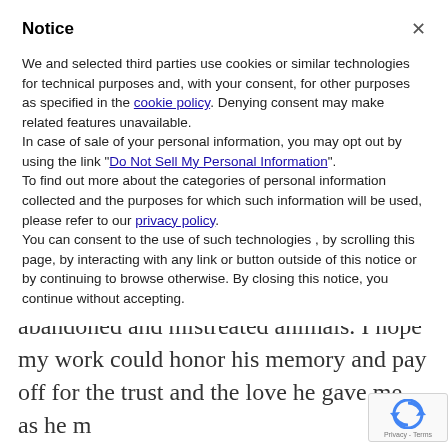Notice
We and selected third parties use cookies or similar technologies for technical purposes and, with your consent, for other purposes as specified in the cookie policy. Denying consent may make related features unavailable.
In case of sale of your personal information, you may opt out by using the link "Do Not Sell My Personal Information".
To find out more about the categories of personal information collected and the purposes for which such information will be used, please refer to our privacy policy.
You can consent to the use of such technologies , by scrolling this page, by interacting with any link or button outside of this notice or by continuing to browse otherwise. By closing this notice, you continue without accepting.
abandoned and mistreated animals. I hope my work could honor his memory and pay off for the trust and the love he gave me, as he made me realize that animals suffer and rejoice just like us, and their lives are no less holy than
[Figure (logo): reCAPTCHA badge with rotating arrows logo and Privacy - Terms text]